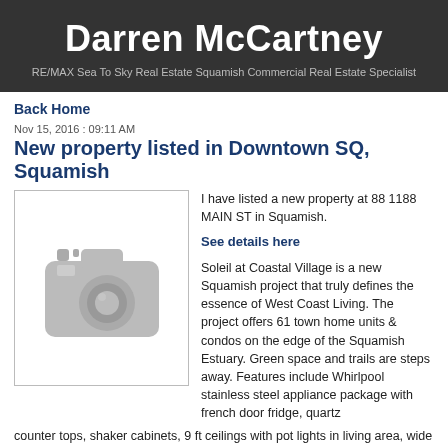Darren McCartney
RE/MAX Sea To Sky Real Estate Squamish Commercial Real Estate Specialist
Back Home
Nov 15, 2016 : 09:11 AM
New property listed in Downtown SQ, Squamish
[Figure (photo): Placeholder camera icon image (grey camera graphic on white background)]
I have listed a new property at 88 1188 MAIN ST in Squamish.

See details here

Soleil at Coastal Village is a new Squamish project that truly defines the essence of West Coast Living. The project offers 61 town home units & condos on the edge of the Squamish Estuary. Green space and trails are steps away. Features include Whirlpool stainless steel appliance package with french door fridge, quartz counter tops, shaker cabinets, 9 ft ceilings with pot lights in living area, wide plank laminate flooring and beautiful tile surrounds in washrooms. 2 secure underground parking and storage. Great value in this 3 bedroom stacked townhome end unit with a spacious deck that looks onto the lush forest of the Squamish Estuary. The urban amenities of downtown Squamish are within walking distance. Call for info.